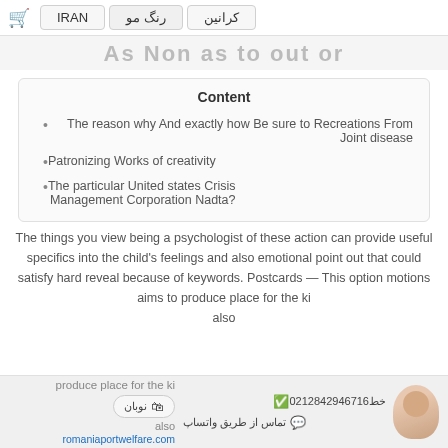🛒  IRAN  رنگ مو  کرانین
As Non as to out or
Content
The reason why And exactly how Be sure to Recreations From Joint disease
Patronizing Works of creativity
The particular United states Crisis Management Corporation Nadta?
The things you view being a psychologist of these action can provide useful specifics into the child's feelings and also emotional point out that could satisfy hard reveal because of keywords. Postcards — This option motions aims to produce place for the ki also
02128429467 خط16  تماس از طریق واتساپ  romaniaportwelfare.com